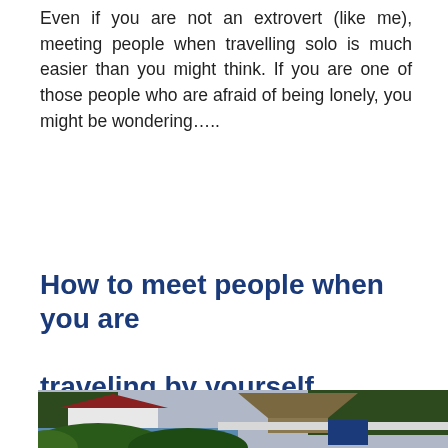Even if you are not an extrovert (like me), meeting people when travelling solo is much easier than you might think. If you are one of those people who are afraid of being lonely, you might be wondering…..
How to meet people when you are traveling by yourself.
[Figure (photo): Tropical resort scene with palm trees in the foreground, pool area, thatched-roof hut structure, a red-roofed white building, and blue signage, with trees and overcast sky in the background.]